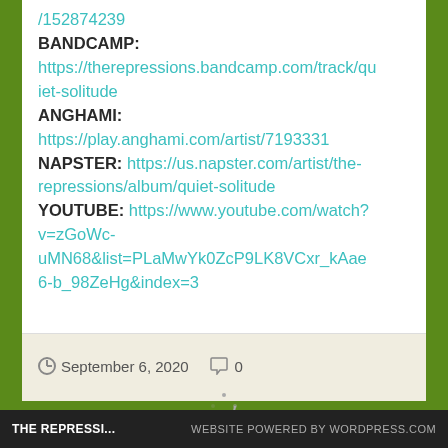/152874239
BANDCAMP: https://therepressions.bandcamp.com/track/quiet-solitude
ANGHAMI: https://play.anghami.com/artist/7193331
NAPSTER: https://us.napster.com/artist/the-repressions/album/quiet-solitude
YOUTUBE: https://www.youtube.com/watch?v=zGoWc-uMN68&list=PLaMwYk0ZcP9LK8VCxr_kAae6-b_98ZeHg&index=3
September 6, 2020   0
THE REPRESSI...   WEBSITE POWERED BY WORDPRESS.COM